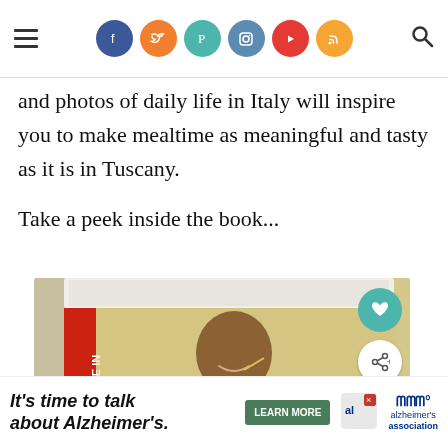[Navigation bar with hamburger menu, social icons: Facebook, Twitter, Pinterest, Instagram, YouTube, RSS, and search icon]
and photos of daily life in Italy will inspire you to make mealtime as meaningful and tasty as it is in Tuscany.
Take a peek inside the book...
[Figure (photo): Photo of a smiling man in a purple shirt holding something to eat, posing with a cookbook 'Made In' in front of a tiled background. Action buttons (heart, share) visible on the right. 'WHAT'S NEXT → Sacred Ordinary Da...' overlay shown bottom right.]
It's time to talk about Alzheimer's. [LEARN MORE button] [Alzheimer's Association logo]